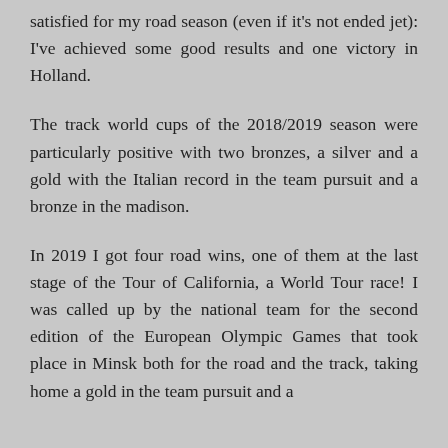satisfied for my road season (even if it's not ended jet): I've achieved some good results and one victory in Holland.
The track world cups of the 2018/2019 season were particularly positive with two bronzes, a silver and a gold with the Italian record in the team pursuit and a bronze in the madison.
In 2019 I got four road wins, one of them at the last stage of the Tour of California, a World Tour race! I was called up by the national team for the second edition of the European Olympic Games that took place in Minsk both for the road and the track, taking home a gold in the team pursuit and a